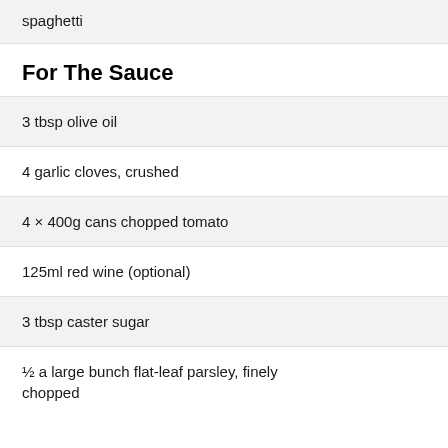spaghetti
For The Sauce
3 tbsp olive oil
4 garlic cloves, crushed
4 × 400g cans chopped tomato
125ml red wine (optional)
3 tbsp caster sugar
½ a large bunch flat-leaf parsley, finely chopped